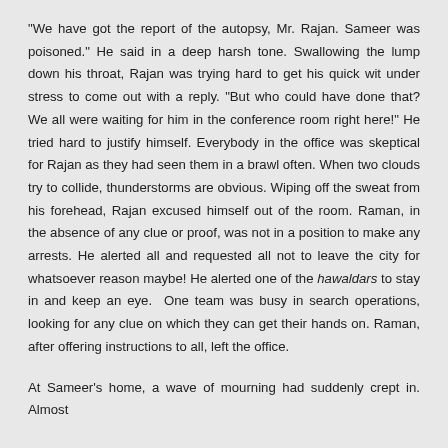"We have got the report of the autopsy, Mr. Rajan. Sameer was poisoned." He said in a deep harsh tone. Swallowing the lump down his throat, Rajan was trying hard to get his quick wit under stress to come out with a reply. "But who could have done that? We all were waiting for him in the conference room right here!" He tried hard to justify himself. Everybody in the office was skeptical for Rajan as they had seen them in a brawl often. When two clouds try to collide, thunderstorms are obvious. Wiping off the sweat from his forehead, Rajan excused himself out of the room. Raman, in the absence of any clue or proof, was not in a position to make any arrests. He alerted all and requested all not to leave the city for whatsoever reason maybe! He alerted one of the hawaldars to stay in and keep an eye. One team was busy in search operations, looking for any clue on which they can get their hands on. Raman, after offering instructions to all, left the office.
At Sameer's home, a wave of mourning had suddenly crept in. Almost